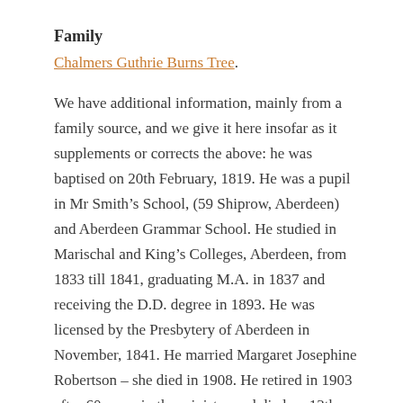Family
Chalmers Guthrie Burns Tree.
We have additional information, mainly from a family source, and we give it here insofar as it supplements or corrects the above: he was baptised on 20th February, 1819. He was a pupil in Mr Smith’s School, (59 Shiprow, Aberdeen) and Aberdeen Grammar School. He studied in Marischal and King’s Colleges, Aberdeen, from 1833 till 1841, graduating M.A. in 1837 and receiving the D.D. degree in 1893. He was licensed by the Presbytery of Aberdeen in November, 1841. He married Margaret Josephine Robertson – she died in 1908. He retired in 1903 after 60 years in the ministry and died on 13th November, 1904, in Edinburgh.
“George Philip, Aberdeen” was a name on the Roll of Probationers adhering to the Free Church. In the Free Church, he served in Stonehaven, Kincardineshire; Union,